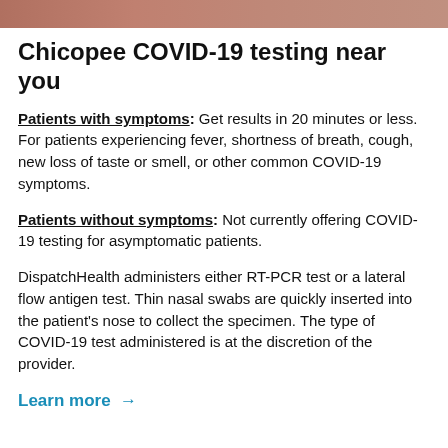[Figure (photo): Partial photograph visible at top of page, showing warm/reddish toned image (appears to be people)]
Chicopee COVID-19 testing near you
Patients with symptoms: Get results in 20 minutes or less. For patients experiencing fever, shortness of breath, cough, new loss of taste or smell, or other common COVID-19 symptoms.
Patients without symptoms: Not currently offering COVID-19 testing for asymptomatic patients.
DispatchHealth administers either RT-PCR test or a lateral flow antigen test. Thin nasal swabs are quickly inserted into the patient's nose to collect the specimen. The type of COVID-19 test administered is at the discretion of the provider.
Learn more →